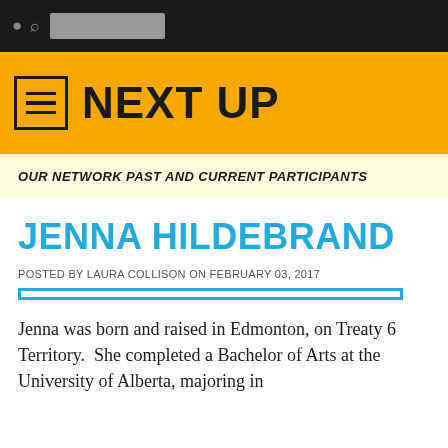[Figure (screenshot): Black navigation bar with search icon and grey search input box]
NEXT UP
OUR NETWORK PAST AND CURRENT PARTICIPANTS
JENNA HILDEBRAND
POSTED BY LAURA COLLISON ON FEBRUARY 03, 2017
[Figure (other): Cyan/blue horizontal rule divider line]
Jenna was born and raised in Edmonton, on Treaty 6 Territory.  She completed a Bachelor of Arts at the University of Alberta, majoring in